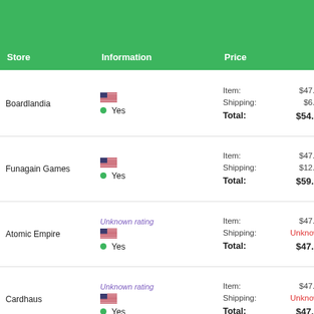| Store | Information | Price | Filter |
| --- | --- | --- | --- |
| Boardlandia | US flag / Yes | Item: $47.98 / Shipping: $6.99 / Total: $54.97 | link |
| Funagain Games | US flag / Yes | Item: $47.99 / Shipping: $12.00 / Total: $59.99 | link |
| Atomic Empire | Unknown rating / US flag / Yes | Item: $47.96 / Shipping: Unknown / Total: $47.96 | link |
| Cardhaus | Unknown rating / US flag / Yes | Item: $47.99 / Shipping: Unknown / Total: $47.99 | link |
| Miniature Market | 2 stars / US flag | Item: $47.99 / Shipping: Unknown | link |